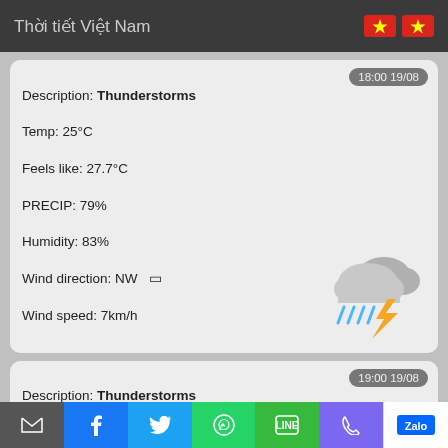Thời tiết Việt Nam
Description: Thunderstorms
Temp: 25°C
Feels like: 27.7°C
PRECIP: 79%
Humidity: 83%
Wind direction: NW []
Wind speed: 7km/h
Time: 18:00 19/08
[Figure (illustration): Thunderstorm weather icon: grey clouds with blue rain drops and yellow lightning bolt]
Description: Thunderstorms
Temp: 24°C
Feels like: 26.6°C
PRECIP: 86%
Humidity: 87%
Wind direction: WNW []
Wind speed: 5km/h
Time: 19:00 19/08
[Figure (illustration): Thunderstorm weather icon: grey clouds with blue rain drops and yellow lightning bolt]
Email | Facebook | Twitter | WhatsApp | Line | Phone | Zalo